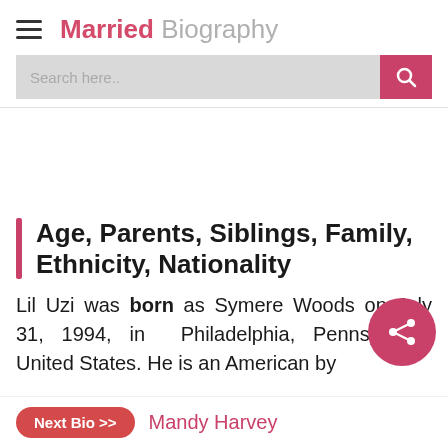Married Biography
Age, Parents, Siblings, Family, Ethnicity, Nationality
Lil Uzi was born as Symere Woods on July 31, 1994, in Philadelphia, Pennsylvania United States. He is an American by
Next Bio >> Mandy Harvey